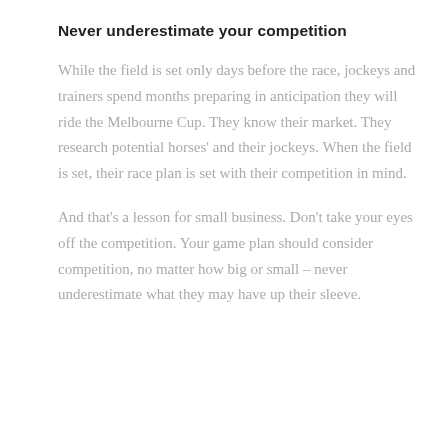Never underestimate your competition
While the field is set only days before the race, jockeys and trainers spend months preparing in anticipation they will ride the Melbourne Cup. They know their market. They research potential horses' and their jockeys. When the field is set, their race plan is set with their competition in mind.
And that's a lesson for small business. Don't take your eyes off the competition. Your game plan should consider competition, no matter how big or small – never underestimate what they may have up their sleeve.